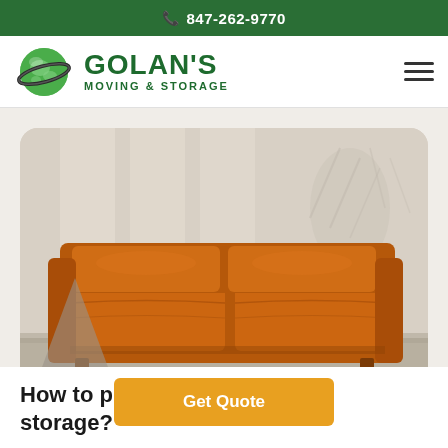847-262-9770
[Figure (logo): Golan's Moving & Storage logo with green globe and company name]
[Figure (photo): Orange leather sofa in a bright room with natural light and plant shadows on the wall]
How to prepare furniture for storage?
Get Quote